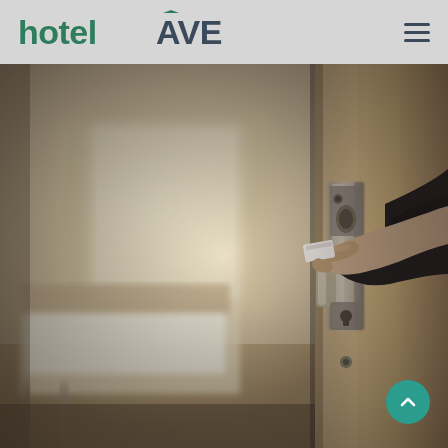hotelAVE
[Figure (photo): A person's hand using a key card on a hotel room electronic door lock. The hotel room interior is visible in the background showing a bed, curtains, and warm neutral tones.]